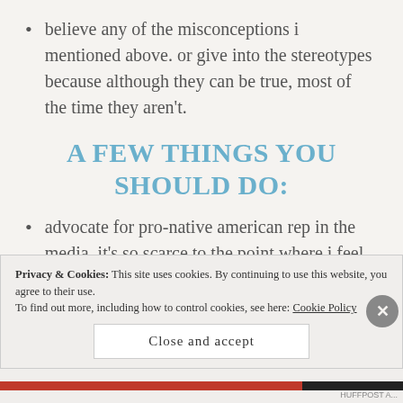believe any of the misconceptions i mentioned above. or give into the stereotypes because although they can be true, most of the time they aren't.
A FEW THINGS YOU SHOULD DO:
advocate for pro-native american rep in the media. it's so scarce to the point where i feel like we're
Privacy & Cookies: This site uses cookies. By continuing to use this website, you agree to their use.
To find out more, including how to control cookies, see here: Cookie Policy
Close and accept